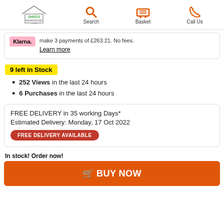Home | Search | Basket | Call Us
make 3 payments of £263.21. No fees. Learn more
9 left in Stock
252 Views in the last 24 hours
6 Purchases in the last 24 hours
FREE DELIVERY in 35 working Days*
Estimated Delivery: Monday, 17 Oct 2022
FREE DELIVERY AVAILABLE
In stock! Order now!
BUY NOW